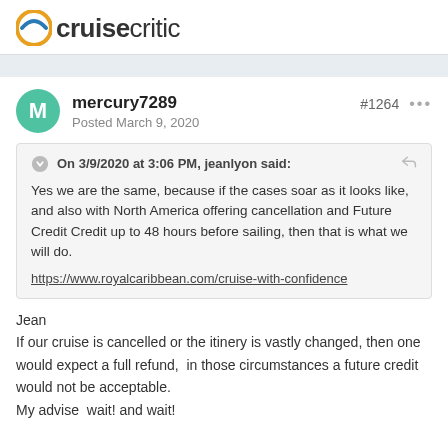cruisecritic
mercury7289
Posted March 9, 2020
#1264
On 3/9/2020 at 3:06 PM, jeanlyon said:
Yes we are the same, because if the cases soar as it looks like, and also with North America offering cancellation and Future Credit Credit up to 48 hours before sailing, then that is what we will do.
https://www.royalcaribbean.com/cruise-with-confidence
Jean
If our cruise is cancelled or the itinery is vastly changed, then one would expect a full refund,  in those circumstances a future credit would not be acceptable.
My advise  wait! and wait!